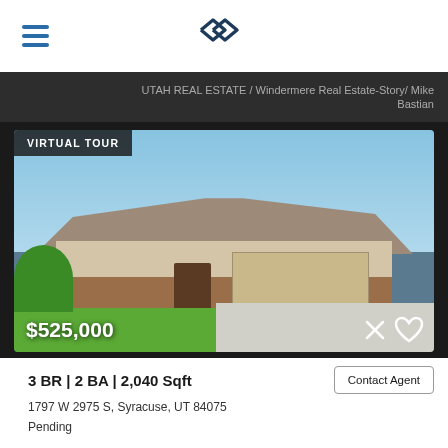[Figure (logo): Navigation bar with hamburger menu and diamond/arrow logo in navy blue]
UTAH REAL ESTATE / Windermere Real Estate-Story/ Mike Bastian
[Figure (photo): Exterior photo of a single-story brick and stucco home with green lawn and two-car garage. Price $525,000 overlaid at bottom left. VIRTUAL TOUR badge at top left. X and heart icons at bottom right.]
3 BR | 2 BA | 2,040 Sqft
Contact Agent
1797 W 2975 S, Syracuse, UT 84075
Pending